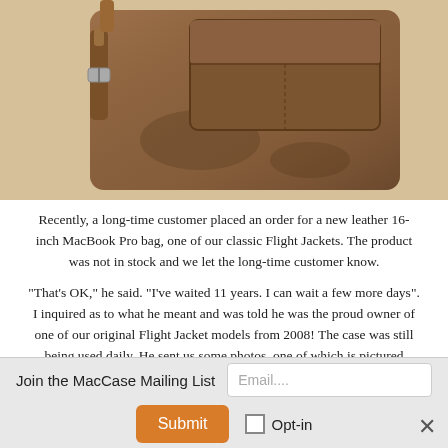[Figure (photo): A worn brown leather bag (Flight Jacket model) photographed from above on a light surface, showing buckle straps and front pocket]
Recently, a long-time customer placed an order for a new leather 16-inch MacBook Pro bag, one of our classic Flight Jackets. The product was not in stock and we let the long-time customer know.
"That's OK," he said. "I've waited 11 years. I can wait a few more days". I inquired as to what he meant and was told he was the proud owner of one of our original Flight Jacket models from 2008! The case was still being used daily. He sent us some photos. one of which is pictured above.